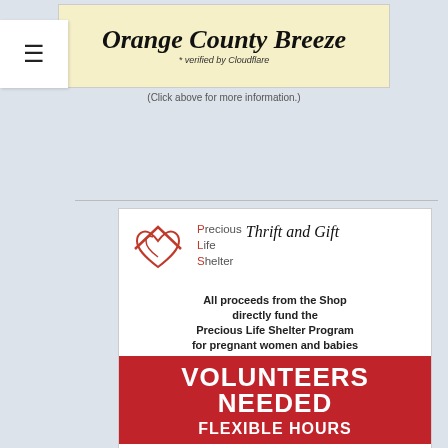[Figure (illustration): Orange County Breeze newspaper banner/logo with 'verified by Cloudflare' text on pale yellow background]
(Click above for more information.)
[Figure (infographic): Precious Life Shelter Thrift and Gift advertisement. Contains logo (house with heart), organization name, body text about proceeds, volunteers needed section (red background), flexible hours, store hours M-F 10a-4p, and teal strip at bottom.]
All proceeds from the Shop directly fund the Precious Life Shelter Program for pregnant women and babies
VOLUNTEERS NEEDED
FLEXIBLE HOURS
Store Hours: M-F 10a-4p